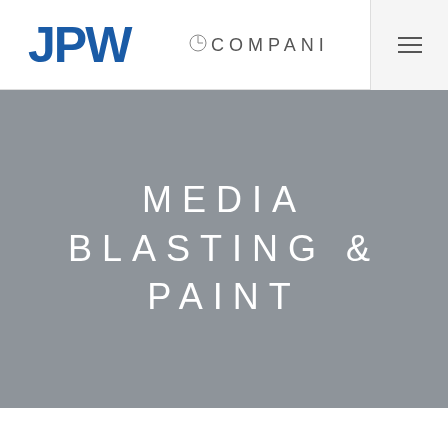[Figure (logo): JPW Companies logo with bold blue JPW letters and thin gray 'COMPANIES' text with a circular clock/compass icon between them]
MEDIA BLASTING & PAINT